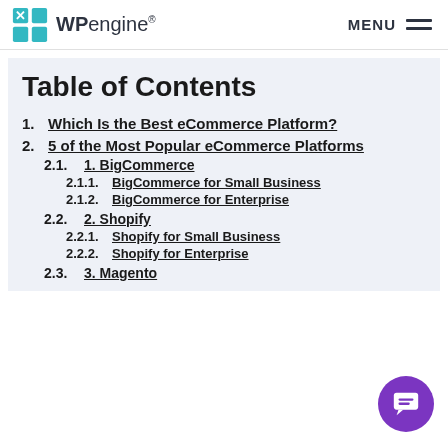WP engine® — MENU
Table of Contents
1. Which Is the Best eCommerce Platform?
2. 5 of the Most Popular eCommerce Platforms
2.1. 1. BigCommerce
2.1.1. BigCommerce for Small Business
2.1.2. BigCommerce for Enterprise
2.2. 2. Shopify
2.2.1. Shopify for Small Business
2.2.2. Shopify for Enterprise
2.3. 3. Magento